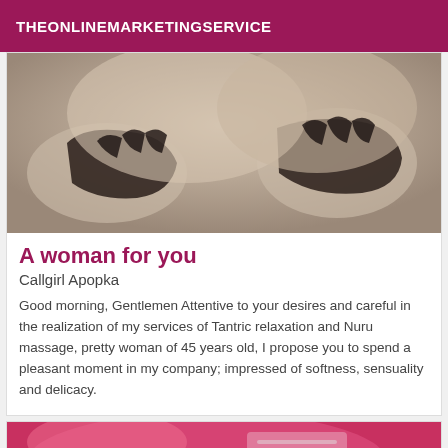THEONLINEMARKETINGSERVICE
[Figure (photo): Black and white sepia photo of hands touching, suggestive image]
A woman for you
Callgirl Apopka
Good morning, Gentlemen Attentive to your desires and careful in the realization of my services of Tantric relaxation and Nuru massage, pretty woman of 45 years old, I propose you to spend a pleasant moment in my company; impressed of softness, sensuality and delicacy.
[Figure (photo): Partial photo with pink colors at bottom of page]